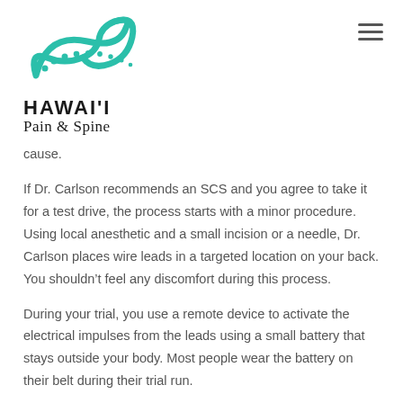HAWAI'I Pain & Spine
cause.
If Dr. Carlson recommends an SCS and you agree to take it for a test drive, the process starts with a minor procedure. Using local anesthetic and a small incision or a needle, Dr. Carlson places wire leads in a targeted location on your back. You shouldn't feel any discomfort during this process.
During your trial, you use a remote device to activate the electrical impulses from the leads using a small battery that stays outside your body. Most people wear the battery on their belt during their trial run.